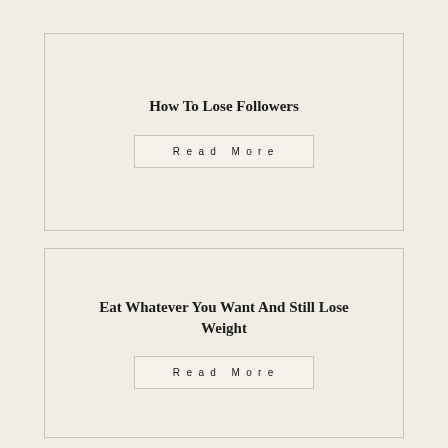How To Lose Followers
Read More
Eat Whatever You Want And Still Lose Weight
Read More